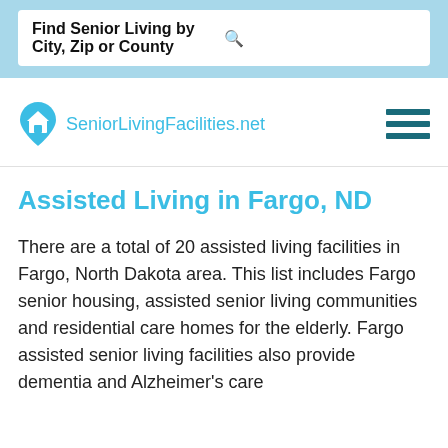Find Senior Living by City, Zip or County
[Figure (logo): SeniorLivingFacilities.net logo with house/location pin icon in light blue]
Assisted Living in Fargo, ND
There are a total of 20 assisted living facilities in Fargo, North Dakota area. This list includes Fargo senior housing, assisted senior living communities and residential care homes for the elderly. Fargo assisted senior living facilities also provide dementia and Alzheimer's care